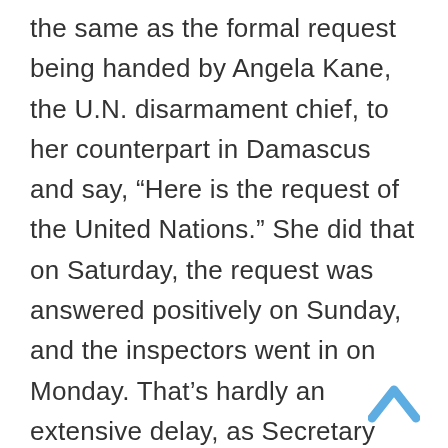the same as the formal request being handed by Angela Kane, the U.N. disarmament chief, to her counterpart in Damascus and say, “Here is the request of the United Nations.” She did that on Saturday, the request was answered positively on Sunday, and the inspectors went in on Monday. That’s hardly an extensive delay, as Secretary Kerry claimed. So, it’s really the collapse of one of the key components of Secretary Kerry’s claim of why it’s so obvious that the regime is responsible for these attacks.
[Figure (other): Upward-pointing chevron/caret icon in light blue, used as a scroll-to-top button]